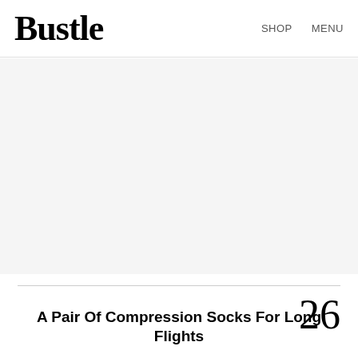Bustle  SHOP  MENU
[Figure (photo): Light gray rectangular placeholder image area]
26
A Pair Of Compression Socks For Long Flights